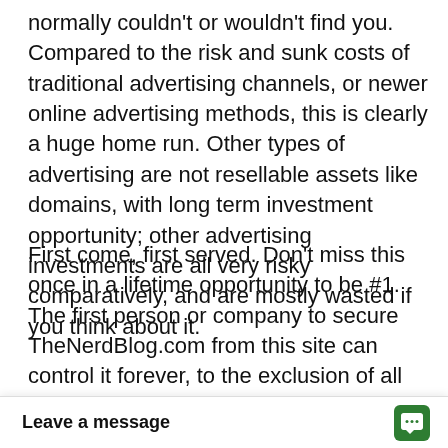normally couldn't or wouldn't find you. Compared to the risk and sunk costs of traditional advertising channels, or newer online advertising methods, this is clearly a huge home run. Other types of advertising are not resellable assets like domains, with long term investment opportunity; other advertising investments are all very risky comparatively, and are mostly wasted if you think about it.
First come, first served. Don't miss this once in a lifetime opportunity to be #1. The first person or company to secure TheNerdBlog.com from this site can control it forever, to the exclusion of all others. It will become out of our control. Get it first; and get ranked first in Google! All that matters online is Location Location Location! Your Domain is Your Location! and brand, a [shortchange it obviou]